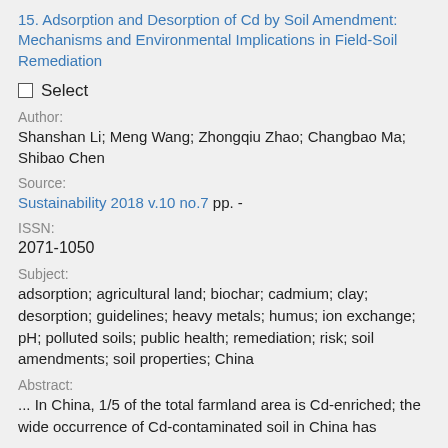15. Adsorption and Desorption of Cd by Soil Amendment: Mechanisms and Environmental Implications in Field-Soil Remediation
Select
Author:
Shanshan Li; Meng Wang; Zhongqiu Zhao; Changbao Ma; Shibao Chen
Source:
Sustainability 2018 v.10 no.7 pp. -
ISSN:
2071-1050
Subject:
adsorption; agricultural land; biochar; cadmium; clay; desorption; guidelines; heavy metals; humus; ion exchange; pH; polluted soils; public health; remediation; risk; soil amendments; soil properties; China
Abstract:
... In China, 1/5 of the total farmland area is Cd-enriched; the wide occurrence of Cd-contaminated soil in China has